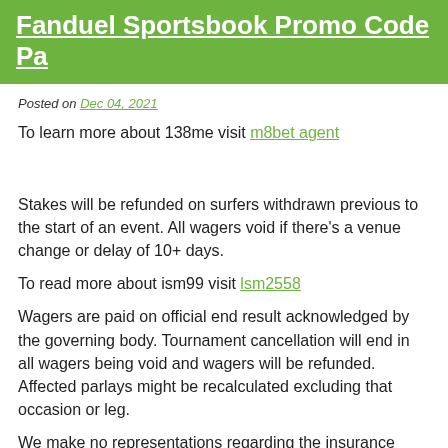Fanduel Sportsbook Promo Code Pa
Posted on Dec 04, 2021
To learn more about 138me visit m8bet agent
Stakes will be refunded on surfers withdrawn previous to the start of an event. All wagers void if there's a venue change or delay of 10+ days.
To read more about ism99 visit lsm2558
Wagers are paid on official end result acknowledged by the governing body. Tournament cancellation will end in all wagers being void and wagers will be refunded. Affected parlays might be recalculated excluding that occasion or leg.
We make no representations regarding the insurance